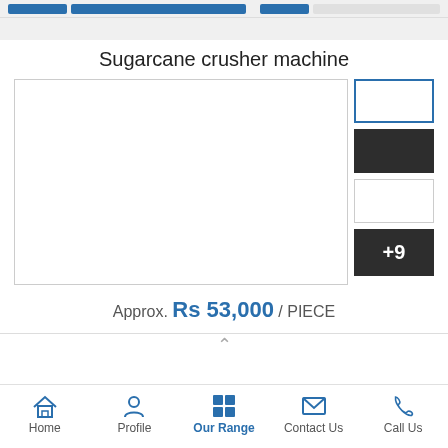Sugarcane crusher machine
[Figure (photo): Product image gallery for sugarcane crusher machine with a large main image placeholder and 4 thumbnails (first with blue border, second dark, third white, fourth dark with +9 overlay)]
Approx. Rs 53,000 / PIECE
Home   Profile   Our Range   Contact Us   Call Us